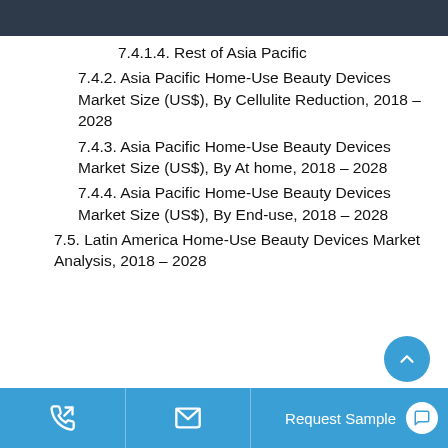7.4.1.4. Rest of Asia Pacific
7.4.2. Asia Pacific Home-Use Beauty Devices Market Size (US$), By Cellulite Reduction, 2018 – 2028
7.4.3. Asia Pacific Home-Use Beauty Devices Market Size (US$), By At home, 2018 – 2028
7.4.4. Asia Pacific Home-Use Beauty Devices Market Size (US$), By End-use, 2018 – 2028
7.5. Latin America Home-Use Beauty Devices Market Analysis, 2018 – 2028